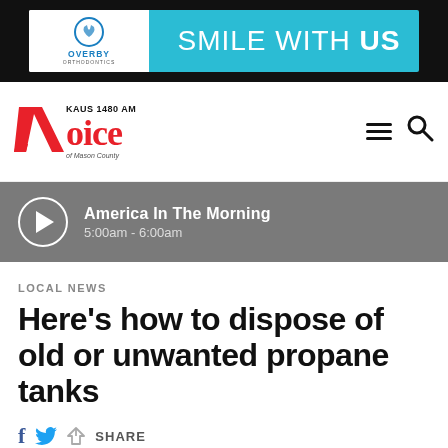[Figure (other): Overby Orthodontics advertisement banner with teal background and text 'SMILE WITH US']
[Figure (logo): KAUS 1480 AM Voice of Mason County radio station logo with red stylized V]
America In The Morning 5:00am - 6:00am
LOCAL NEWS
Here’s how to dispose of old or unwanted propane tanks
SHARE